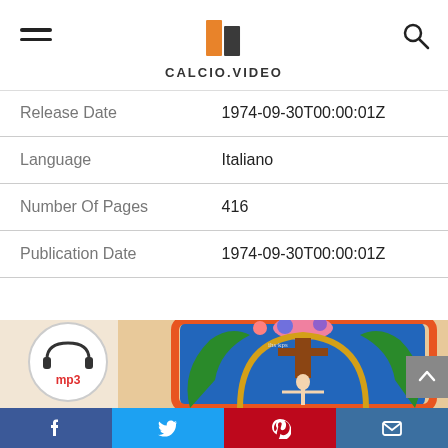CALCIO.VIDEO
| Release Date | 1974-09-30T00:00:01Z |
| Language | Italiano |
| Number Of Pages | 416 |
| Publication Date | 1974-09-30T00:00:01Z |
[Figure (photo): Medieval illuminated manuscript image showing a crucifixion scene within a decorative initial letter, with colorful floral and architectural elements. An mp3 logo circle overlay is in the upper left.]
Facebook | Twitter | Pinterest | Email